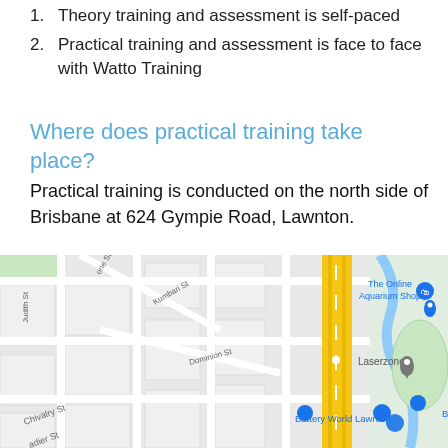1. Theory training and assessment is self-paced
2. Practical training and assessment is face to face with Watto Training
Where does practical training take place?
Practical training is conducted on the north side of Brisbane at 624 Gympie Road, Lawnton.
[Figure (map): Google Maps screenshot showing 624 Gympie Road, Lawnton area with streets including Judith St, Kumbari St, Dominion St, Chivalry St, and landmarks like The Online Aquarium Shop, Laserzone, and Battery World Lawnton. A yellow highway runs through the right side of the map.]